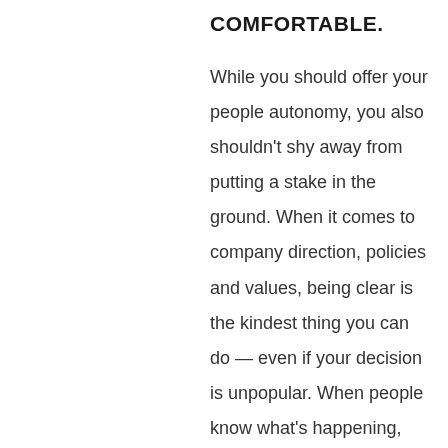COMFORTABLE.
While you should offer your people autonomy, you also shouldn't shy away from putting a stake in the ground. When it comes to company direction, policies and values, being clear is the kindest thing you can do — even if your decision is unpopular. When people know what's happening, they can make the best choices for themselves. It's ambiguity that is more punishing.